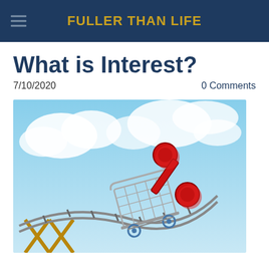FULLER THAN LIFE
What is Interest?
7/10/2020
0 Comments
[Figure (photo): A shopping cart on a roller coaster track carrying a large red 3D percent sign, against a blue sky with clouds background, representing interest rates concept.]